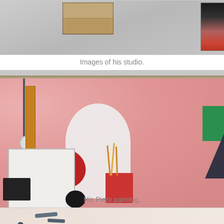[Figure (photo): Partial view of an artist's studio with shelving unit and a portrait photograph on a gray wall]
Images of his studio.
[Figure (photo): A large framed painting titled 'Piero painting' showing an abstract/figurative composition with pink background, a white hooded figure, brushes in a red container, a hanging lamp, and various studio objects]
His Piero painting.
[Figure (photo): Partial view of another painting showing abstract forms in red, pink, and blue-gray on a light background]